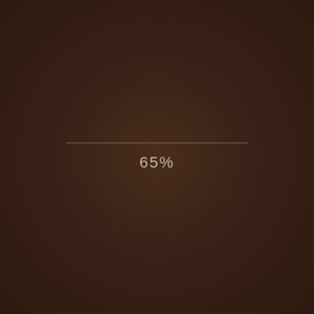[Figure (infographic): Dark brown radial gradient background with a thin horizontal line and centered text showing 65%]
65%